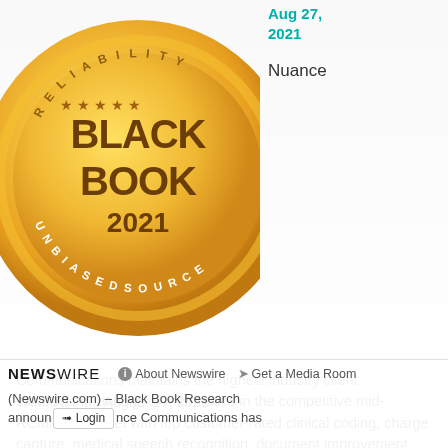[Figure (logo): Black Book 2021 gold medal seal with 'RELIABILITY' text on top, stars, and 'UNBIASED SOURCE' text at bottom]
Aug 27, 2021
Nuance
Communications maintains the highest industry client satisfaction ranking for informatics in the competitive mid-RCM/CDI market with top customer-rated clinical coding, charge capture, medical speech recognition, document improvement and artificial intelligence tools.
TAMPA, Fla., August 27, 2021
NEWSWIRE   ⓘ About Newswire   ➤ Get a Media Room   ➡ Login
(Newswire.com) – Black Book Research announce... Nuance Communications has